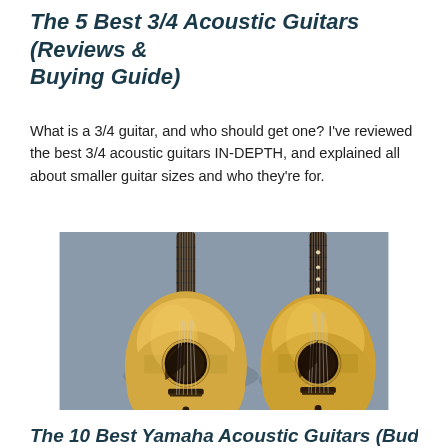The 5 Best 3/4 Acoustic Guitars (Reviews & Buying Guide)
What is a 3/4 guitar, and who should get one? I've reviewed the best 3/4 acoustic guitars IN-DEPTH, and explained all about smaller guitar sizes and who they're for.
[Figure (photo): Two acoustic guitars leaning against a grey wall side by side, both with natural spruce tops and dark rosewood fretboards.]
The 10 Best Yamaha Acoustic Guitars (Budget